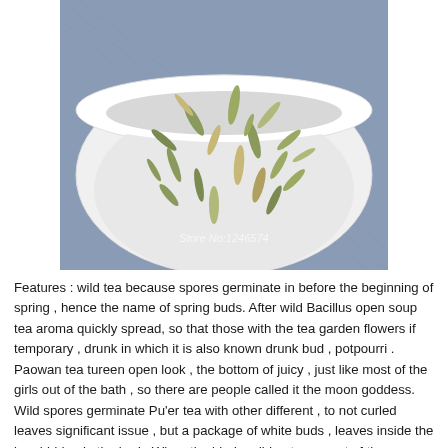[Figure (photo): A white ceramic bowl filled with dried green tea buds/leaves (wild spring tea buds). The bowl sits on a blue textured surface. A watermark reads 'Store No:1246574'.]
Features : wild tea because spores germinate in before the beginning of spring , hence the name of spring buds. After wild Bacillus open soup tea aroma quickly spread, so that those with the tea garden flowers if temporary , drunk in which it is also known drunk bud , potpourri . Paowan tea tureen open look , the bottom of juicy , just like most of the girls out of the bath , so there are people called it the moon goddess. Wild spores germinate Pu'er tea with other different , to not curled leaves significant issue , but a package of white buds , leaves inside the bag hidden in the bud . When the blades did not grow out of the entrance and sweet , but